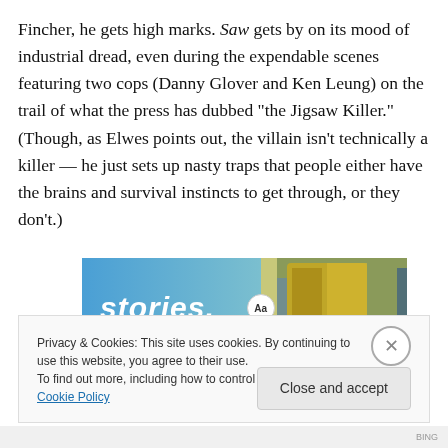Fincher, he gets high marks. Saw gets by on its mood of industrial dread, even during the expendable scenes featuring two cops (Danny Glover and Ken Leung) on the trail of what the press has dubbed “the Jigsaw Killer.” (Though, as Elwes points out, the villain isn’t technically a killer — he just sets up nasty traps that people either have the brains and survival instincts to get through, or they don’t.)
[Figure (screenshot): Advertisement banner showing the word 'stories.' in white bold italic text on a blue-green gradient background, with a yellow-green jacket image on the right side and an 'Aa' font badge.]
Privacy & Cookies: This site uses cookies. By continuing to use this website, you agree to their use.
To find out more, including how to control cookies, see here: Cookie Policy
Close and accept